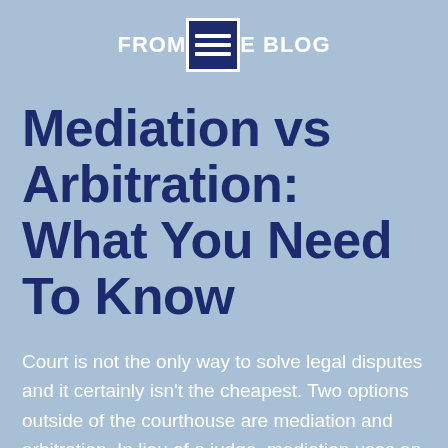FROMME BLOG
Mediation vs Arbitration: What You Need To Know
Court is not the only way to solve legal disputes and it certainly isn't the cheapest. Two options outside of the courthouse are mediation and arbitration. In lieu of a judge, mediation uses an ...